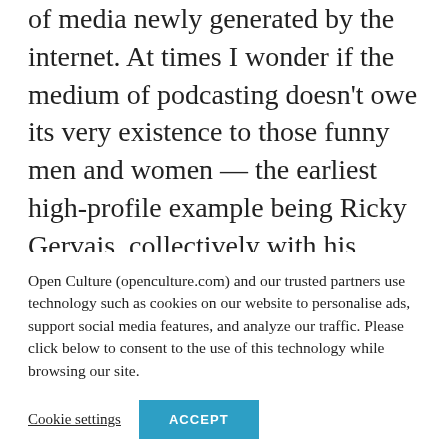of media newly generated by the internet. At times I wonder if the medium of podcasting doesn't owe its very existence to those funny men and women — the earliest high-profile example being Ricky Gervais, collectively with his writing partner Stephen Merchant and oracle/object of ridicule Karl Pilkington — who immediately understood its potential. Some comedians podcast so well that you'd almost believe they had just been waiting for the [text cut off]
Open Culture (openculture.com) and our trusted partners use technology such as cookies on our website to personalise ads, support social media features, and analyze our traffic. Please click below to consent to the use of this technology while browsing our site.
Cookie settings  ACCEPT